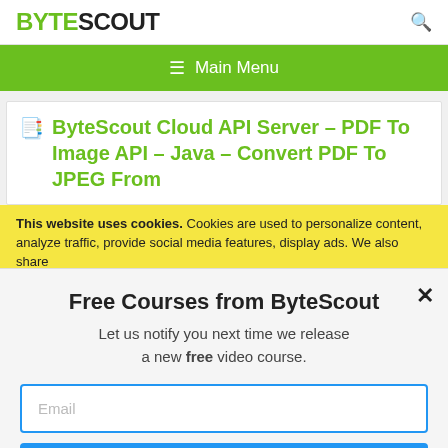BYTESCOUT
[Figure (screenshot): ByteScout website navigation bar with hamburger menu icon and Main Menu label on green background]
ByteScout Cloud API Server – PDF To Image API – Java – Convert PDF To JPEG From
This website uses cookies. Cookies are used to personalize content, analyze traffic, provide social media features, display ads. We also share
Free Courses from ByteScout
Let us notify you next time we release a new free video course.
Email
SUBSCRIBE